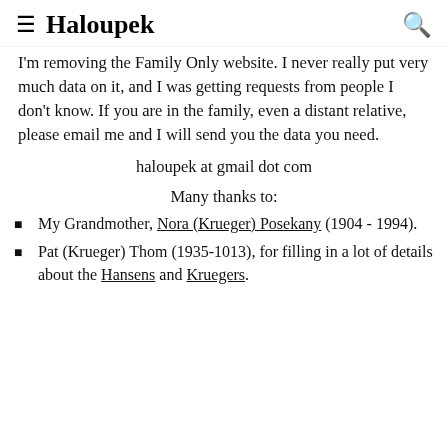≡  Haloupek  🔍
I'm removing the Family Only website. I never really put very much data on it, and I was getting requests from people I don't know. If you are in the family, even a distant relative, please email me and I will send you the data you need.
haloupek at gmail dot com
Many thanks to:
My Grandmother, Nora (Krueger) Posekany (1904 - 1994).
Pat (Krueger) Thom (1935-1013), for filling in a lot of details about the Hansens and Kruegers.